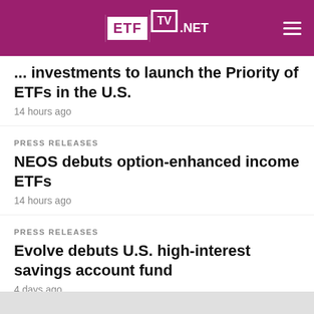ETF TV .NET
... investments to launch the Priority of ETFs in the U.S.
14 hours ago
PRESS RELEASES
NEOS debuts option-enhanced income ETFs
14 hours ago
PRESS RELEASES
Evolve debuts U.S. high-interest savings account fund
4 days ago